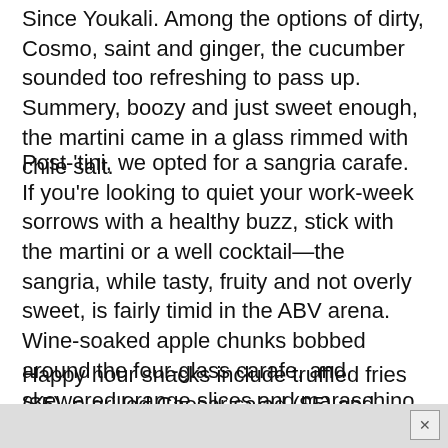Since Youkali. Among the options of dirty, Cosmo, saint and ginger, the cucumber sounded too refreshing to pass up. Summery, boozy and just sweet enough, the martini came in a glass rimmed with chile salt.
Post-'tini, we opted for a sangria carafe. If you're looking to quiet your work-week sorrows with a healthy buzz, stick with the martini or a well cocktail—the sangria, while tasty, fruity and not overly sweet, is fairly timid in the ABV arena. Wine-soaked apple chunks bobbed around the four-glass carafe, and skewered orange slices and maraschino cherries adorned our glasses. While the cucumber martini took the crown, the sangria was a cheerful Miss Congeniality.
Happy hour snacks include truffled fries ($5), a grilled Caesar salad ($5) and, best of all, half-price pizzas. The